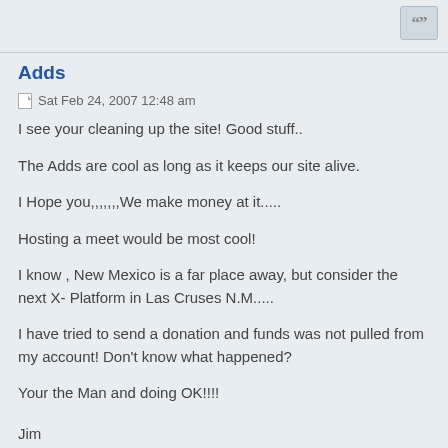Adds
Sat Feb 24, 2007 12:48 am
I see your cleaning up the site! Good stuff..
The Adds are cool as long as it keeps our site alive.
I Hope you,,,,,,,We make money at it.....
Hosting a meet would be most cool!
I know , New Mexico is a far place away, but consider the next X- Platform in Las Cruses N.M.....
I have tried to send a donation and funds was not pulled from my account! Don't know what happened?
Your the Man and doing OK!!!!
Jim